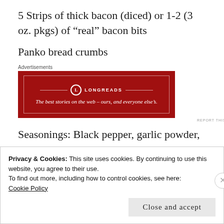5 Strips of thick bacon (diced) or 1-2 (3 oz. pkgs) of “real” bacon bits
Panko bread crumbs
[Figure (other): Longreads advertisement banner with red background. Text: 'LONGREADS' and 'The best stories on the web – ours, and everyone else’s.']
Seasonings: Black pepper, garlic powder,
Privacy & Cookies: This site uses cookies. By continuing to use this website, you agree to their use.
To find out more, including how to control cookies, see here: Cookie Policy
Close and accept